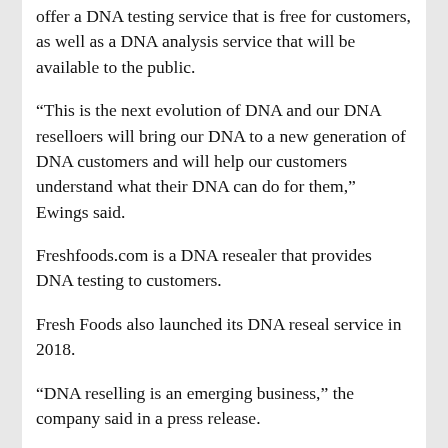offer a DNA testing service that is free for customers, as well as a DNA analysis service that will be available to the public.
“This is the next evolution of DNA and our DNA reselloers will bring our DNA to a new generation of DNA customers and will help our customers understand what their DNA can do for them,” Ewings said.
Freshfoods.com is a DNA resealer that provides DNA testing to customers.
Fresh Foods also launched its DNA reseal service in 2018.
“DNA reselling is an emerging business,” the company said in a press release.
“In our DNA marketplace, customers can compare and choose the DNA that is most relevant to their needs.”
Fresh Foods is also a leader in genetic testing, with over 1.5 million customers and more than 200,000 DNA tests.